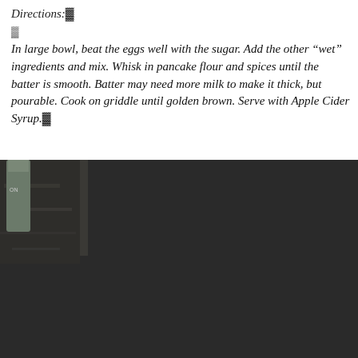Directions:
In large bowl, beat the eggs well with the sugar. Add the other "wet" ingredients and mix. Whisk in pancake flour and spices until the batter is smooth. Batter may need more milk to make it thick, but pourable. Cook on griddle until golden brown. Serve with Apple Cider Syrup.
[Figure (photo): A photo of a small saucepan with golden-brown apple cider syrup bubbling on a stove, with a larger pan in the foreground and kitchen items visible in the background.]